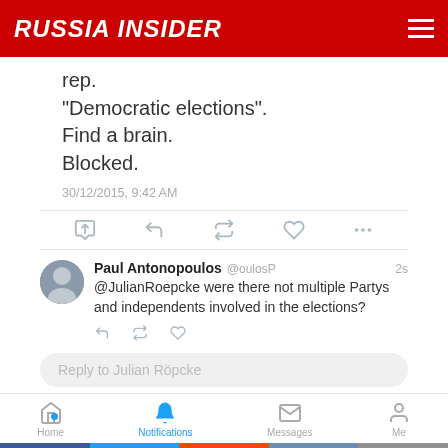RUSSIA INSIDER
rep.
"Democratic elections".
Find a brain.
Blocked.
30/12/2015, 9:42 AM
[Figure (screenshot): Tweet reply by Paul Antonopoulos (@oulosP): '@JulianRoepcke were there not multiple Partys and independents involved in the elections?']
Reply to Julian Röpcke
[Figure (infographic): Twitter bottom navigation bar: Home, Notifications (active, blue), Messages, Me]
[Figure (infographic): Social share bar: Facebook, Twitter, Reddit, VK, Email]